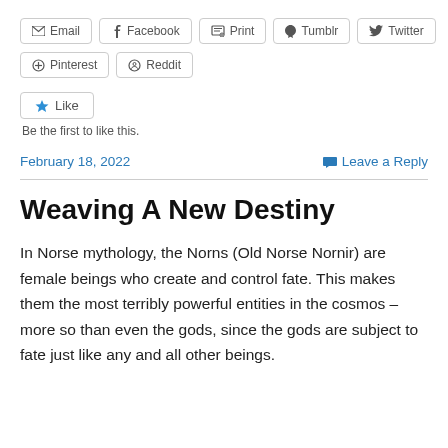[Figure (other): Social share buttons row 1: Email, Facebook, Print, Tumblr, Twitter]
[Figure (other): Social share buttons row 2: Pinterest, Reddit]
[Figure (other): Like button widget with star icon]
Be the first to like this.
February 18, 2022
Leave a Reply
Weaving A New Destiny
In Norse mythology, the Norns (Old Norse Nornir) are female beings who create and control fate. This makes them the most terribly powerful entities in the cosmos – more so than even the gods, since the gods are subject to fate just like any and all other beings.